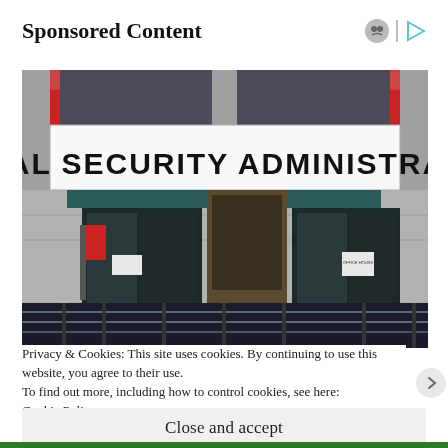Sponsored Content
[Figure (photo): Exterior entrance of a Social Security Administration office building, showing large signage reading 'SOCIAL SECURITY ADMINISTRATION', glass doors, ramp with metal railing, concrete facade.]
Privacy & Cookies: This site uses cookies. By continuing to use this website, you agree to their use.
To find out more, including how to control cookies, see here: Cookie Policy
Close and accept